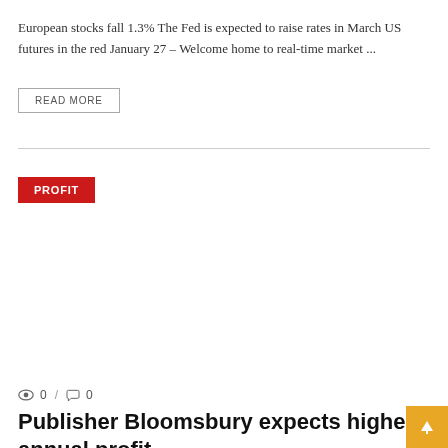European stocks fall 1.3% The Fed is expected to raise rates in March US futures in the red January 27 – Welcome home to real-time market ...
READ MORE
PROFIT
0 / 0
Publisher Bloomsbury expects higher annual profit